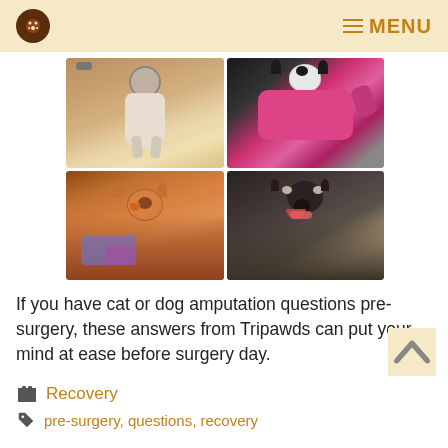Tripawds — MENU
[Figure (photo): 2x2 grid of four pet photos: top-left white dog looking up, top-right black and white cat in pink sling/bandage, bottom-left orange tabby cat with mouth open, bottom-right black Labrador dog smiling with mouth open.]
If you have cat or dog amputation questions pre-surgery, these answers from Tripawds can put your mind at ease before surgery day.
Recovery
pre-surgery, questions, recovery